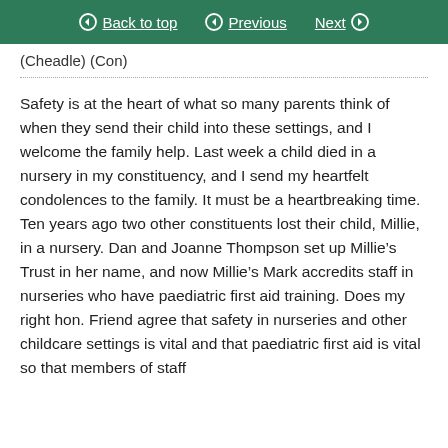Back to top | Previous | Next
(Cheadle) (Con)
Safety is at the heart of what so many parents think of when they send their child into these settings, and I welcome the family help. Last week a child died in a nursery in my constituency, and I send my heartfelt condolences to the family. It must be a heartbreaking time. Ten years ago two other constituents lost their child, Millie, in a nursery. Dan and Joanne Thompson set up Millie’s Trust in her name, and now Millie’s Mark accredits staff in nurseries who have paediatric first aid training. Does my right hon. Friend agree that safety in nurseries and other childcare settings is vital and that paediatric first aid is vital so that members of staff